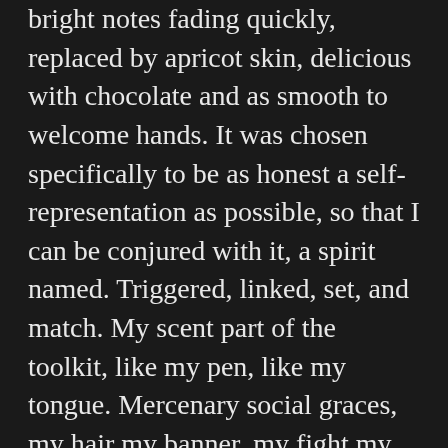bright notes fading quickly, replaced by apricot skin, delicious with chocolate and as smooth to welcome hands. It was chosen specifically to be as honest a self-representation as possible, so that I can be conjured with it, a spirit named. Triggered, linked, set, and match. My scent part of the toolkit, like my pen, like my tongue. Mercenary social graces, my hair my banner, my fight my own.
A touch in the fiery tangle on top of my head and a touch on the collar of his shirt, a drop to the hollow of my throat, a drop behind his ear, a mist that became my invisible self, recognized as deep as the lizard brain.
Knife bearer, dream walker, post-geographic